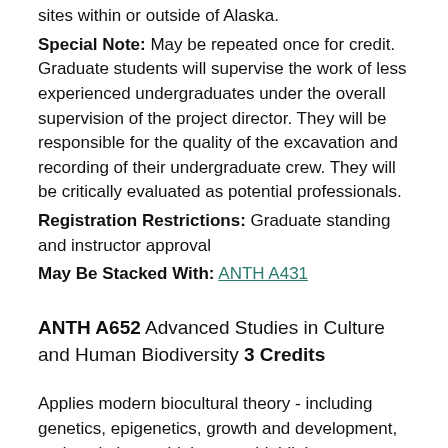sites within or outside of Alaska. Special Note: May be repeated once for credit. Graduate students will supervise the work of less experienced undergraduates under the overall supervision of the project director. They will be responsible for the quality of the excavation and recording of their undergraduate crew. They will be critically evaluated as potential professionals. Registration Restrictions: Graduate standing and instructor approval May Be Stacked With: ANTH A431
ANTH A652 Advanced Studies in Culture and Human Biodiversity 3 Credits
Applies modern biocultural theory - including genetics, epigenetics, growth and development, and evolutionary biology - to highlight current understandings of human phenotypic, gender and sexual variation. Explores the historical role that biology has played and continues to play in the construction of...